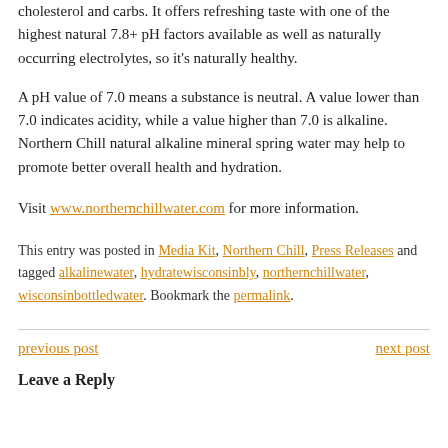cholesterol and carbs. It offers refreshing taste with one of the highest natural 7.8+ pH factors available as well as naturally occurring electrolytes, so it's naturally healthy.
A pH value of 7.0 means a substance is neutral. A value lower than 7.0 indicates acidity, while a value higher than 7.0 is alkaline. Northern Chill natural alkaline mineral spring water may help to promote better overall health and hydration.
Visit www.northernchillwater.com for more information.
This entry was posted in Media Kit, Northern Chill, Press Releases and tagged alkalinewater, hydratewisconsinbly, northernchillwater, wisconsinbottledwater. Bookmark the permalink.
previous post
next post
Leave a Reply